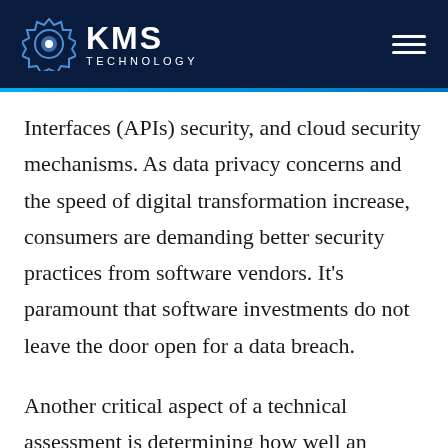KMS TECHNOLOGY
Interfaces (APIs) security, and cloud security mechanisms. As data privacy concerns and the speed of digital transformation increase, consumers are demanding better security practices from software vendors. It's paramount that software investments do not leave the door open for a data breach.
Another critical aspect of a technical assessment is determining how well an application performs under daily use. Does